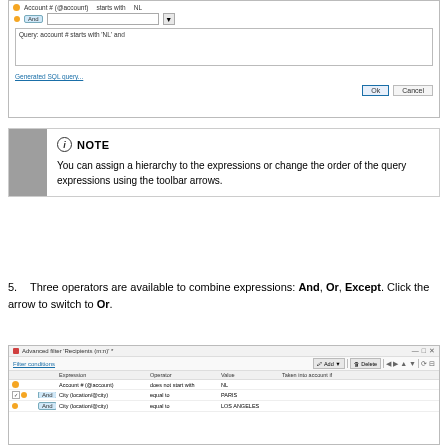[Figure (screenshot): Dialog box showing filter conditions with Account # starts with NL, And row with empty input, query text box showing 'Query: account # starts with NL and', a Generated SQL query link, and Ok/Cancel buttons]
NOTE
You can assign a hierarchy to the expressions or change the order of the query expressions using the toolbar arrows.
5. Three operators are available to combine expressions: And, Or, Except. Click the arrow to switch to Or.
[Figure (screenshot): Advanced filter Recipients dialog showing filter conditions table with rows: Account # @account does not start with NL, And - City @city equal to PARIS, And - City @city equal to LOS ANGELES]